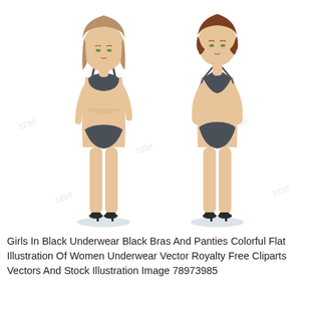[Figure (illustration): Two cartoon-style flat illustrations of women in black underwear (bras and panties/boyshorts) standing front-facing. Left figure: brunette with straight hair, wearing black bra and bikini briefs, black heels. Right figure: short auburn-haired woman with hands on hips, wearing black triangle-strap bra and boyshort briefs, black heels. Both have light skin tones. Watermark logos (123rf) visible in background.]
Girls In Black Underwear Black Bras And Panties Colorful Flat Illustration Of Women Underwear Vector Royalty Free Cliparts Vectors And Stock Illustration Image 78973985